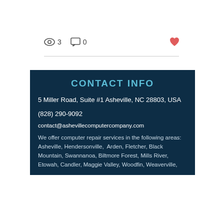3   0
CONTACT INFO
5 Miller Road, Suite #1 Asheville, NC 28803, USA
(828) 290-9092
contact@ashevillecomputercompany.com
We offer computer repair services in the following areas: Asheville, Hendersonville, Arden, Fletcher, Black Mountain, Swannanoa, Biltmore Forest, Mills River, Etowah, Candler, Maggie Valley, Woodfin, Weaverville,